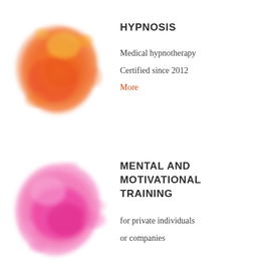[Figure (illustration): Watercolor blob in orange and red tones representing hypnosis section]
HYPNOSIS
Medical hypnotherapy
Certified since 2012
More
[Figure (illustration): Watercolor blob in pink and magenta tones representing mental and motivational training section]
MENTAL AND MOTIVATIONAL TRAINING
for private individuals
or companies